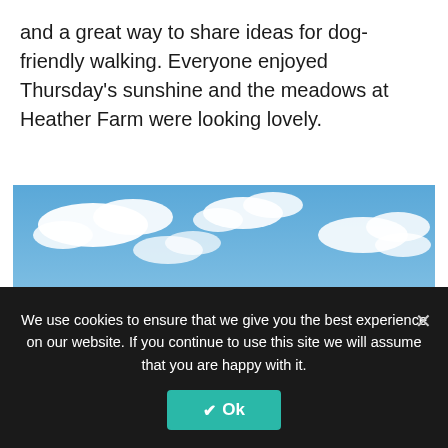and a great way to share ideas for dog-friendly walking. Everyone enjoyed Thursday's sunshine and the meadows at Heather Farm were looking lovely.
[Figure (photo): Outdoor photo of a group of people with dogs walking along a narrow path through green meadows at Heather Farm on a sunny day with blue sky and clouds. Trees visible in the background.]
We use cookies to ensure that we give you the best experience on our website. If you continue to use this site we will assume that you are happy with it.